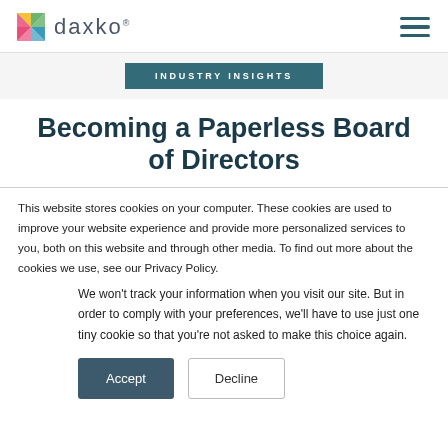daxko® — navigation header with hamburger menu
INDUSTRY INSIGHTS
Becoming a Paperless Board of Directors
This website stores cookies on your computer. These cookies are used to improve your website experience and provide more personalized services to you, both on this website and through other media. To find out more about the cookies we use, see our Privacy Policy.
We won't track your information when you visit our site. But in order to comply with your preferences, we'll have to use just one tiny cookie so that you're not asked to make this choice again.
Accept | Decline